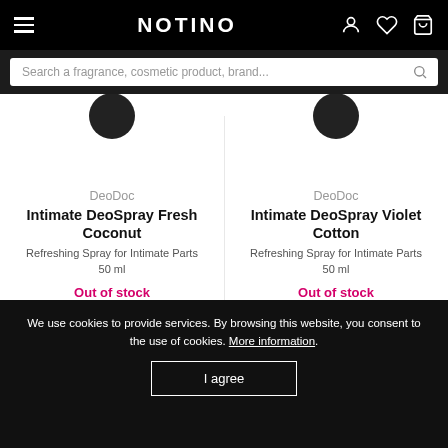NOTINO
Search a fragrance, cosmetic product, brand...
DeoDoc
Intimate DeoSpray Fresh Coconut
Refreshing Spray for Intimate Parts 50 ml
Out of stock
DeoDoc
Intimate DeoSpray Violet Cotton
Refreshing Spray for Intimate Parts 50 ml
Out of stock
We use cookies to provide services. By browsing this website, you consent to the use of cookies. More information.
I agree